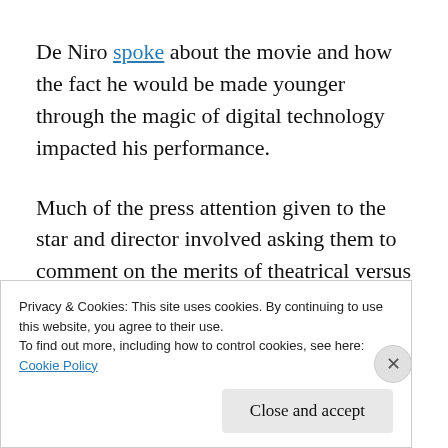De Niro spoke about the movie and how the fact he would be made younger through the magic of digital technology impacted his performance.
Much of the press attention given to the star and director involved asking them to comment on the merits of theatrical versus streaming releases, with the movie only coming up as a secondary subject. Even the film's producer
Privacy & Cookies: This site uses cookies. By continuing to use this website, you agree to their use.
To find out more, including how to control cookies, see here:
Cookie Policy
Close and accept